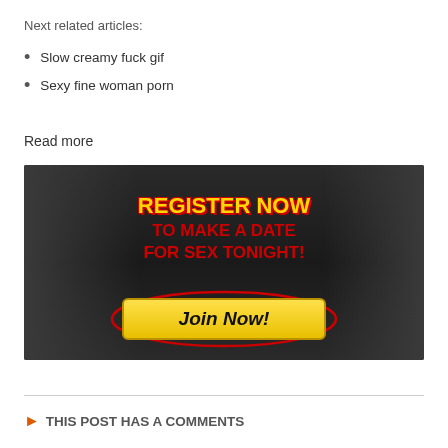Next related articles:
Slow creamy fuck gif
Sexy fine woman porn
Read more
[Figure (photo): Advertisement banner with dark gradient background featuring two women, bold text 'REGISTER NOW TO MAKE A DATE FOR SEX TONIGHT!' and a yellow 'Join Now!' button]
THIS POST HAS A COMMENTS